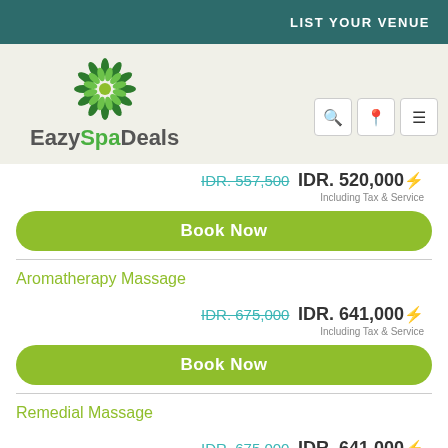LIST YOUR VENUE
[Figure (logo): EazySpaDeals logo with green flower/sunburst icon and brand name]
IDR. 557,500 IDR. 520,000 Including Tax & Service
Book Now
Aromatherapy Massage
IDR. 675,000 IDR. 641,000 Including Tax & Service
Book Now
Remedial Massage
IDR. 675,000 IDR. 641,000 Including Tax & Service
Book Now